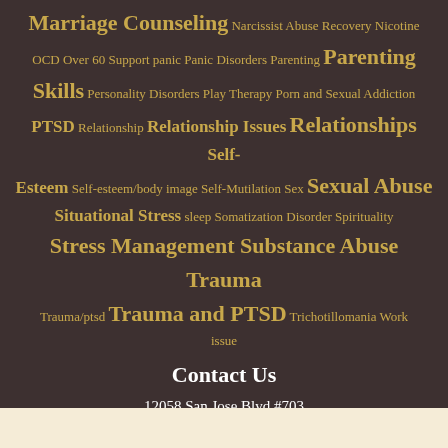Marriage Counseling Narcissist Abuse Recovery Nicotine OCD Over 60 Support panic Panic Disorders Parenting Parenting Skills Personality Disorders Play Therapy Porn and Sexual Addiction PTSD Relationship Relationship Issues Relationships Self-Esteem Self-esteem/body image Self-Mutilation Sex Sexual Abuse Situational Stress sleep Somatization Disorder Spirituality Stress Management Substance Abuse Trauma Trauma/ptsd Trauma and PTSD Trichotillomania Work issue
Contact Us
12058 San Jose Blvd #703
Jacksonville, FL 32223
Get Directions from Google
Phone: 904-260-0454
Fax: 904-260-0044